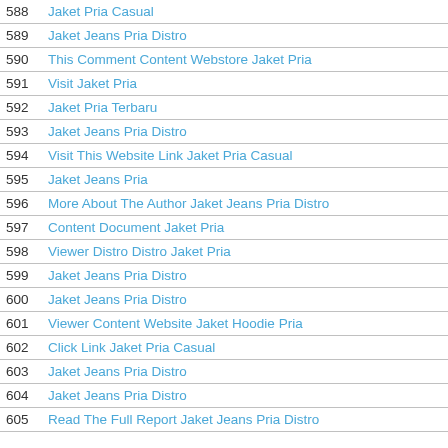| # | Title |
| --- | --- |
| 588 | Jaket Pria Casual |
| 589 | Jaket Jeans Pria Distro |
| 590 | This Comment Content Webstore Jaket Pria |
| 591 | Visit Jaket Pria |
| 592 | Jaket Pria Terbaru |
| 593 | Jaket Jeans Pria Distro |
| 594 | Visit This Website Link Jaket Pria Casual |
| 595 | Jaket Jeans Pria |
| 596 | More About The Author Jaket Jeans Pria Distro |
| 597 | Content Document Jaket Pria |
| 598 | Viewer Distro Distro Jaket Pria |
| 599 | Jaket Jeans Pria Distro |
| 600 | Jaket Jeans Pria Distro |
| 601 | Viewer Content Website Jaket Hoodie Pria |
| 602 | Click Link Jaket Pria Casual |
| 603 | Jaket Jeans Pria Distro |
| 604 | Jaket Jeans Pria Distro |
| 605 | Read The Full Report Jaket Jeans Pria Distro |